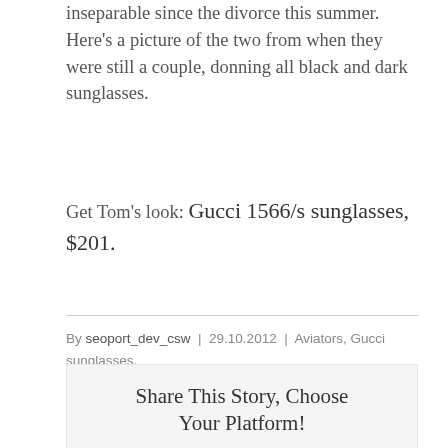inseparable since the divorce this summer. Here's a picture of the two from when they were still a couple, donning all black and dark sunglasses.
Get Tom's look: Gucci 1566/s sunglasses, $201.
By seoport_dev_csw | 29.10.2012 | Aviators, Gucci sunglasses, Tom Cruise sunglasses | 0 Comments
Share This Story, Choose Your Platform!
[Figure (infographic): Social sharing icons: facebook, twitter, reddit, linkedin, whatsapp, telegram, tumblr, pinterest, vk, xing]